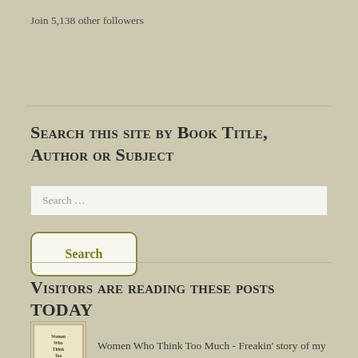Join 5,138 other followers
Search this site by Book Title, Author or Subject
Search ...
Search
Visitors are reading these posts TODAY
[Figure (photo): Thumbnail of book cover: Women Who Think Too Much]
Women Who Think Too Much - Freakin' story of my life!